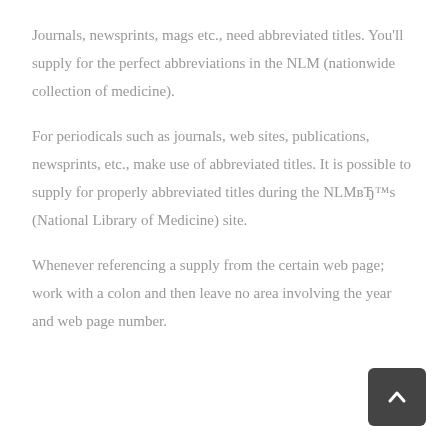Journals, newsprints, mags etc., need abbreviated titles. You’ll supply for the perfect abbreviations in the NLM (nationwide collection of medicine).
For periodicals such as journals, web sites, publications, newsprints, etc., make use of abbreviated titles. It is possible to supply for properly abbreviated titles during the NLMвЂ™s (National Library of Medicine) site.
Whenever referencing a supply from the certain web page; work with a colon and then leave no area involving the year and web page number.